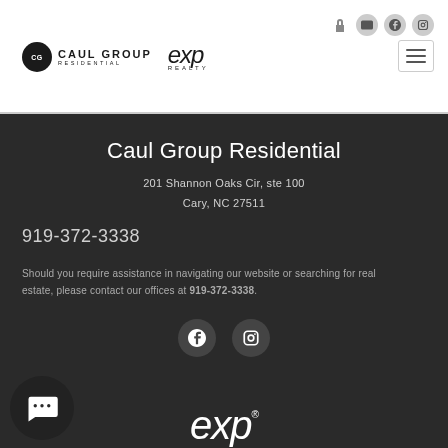[Figure (logo): Caul Group Residential logo with circular emblem and eXp Realty logo]
Caul Group Residential
201 Shannon Oaks Cir, ste 100
Cary, NC 27511
919-372-3338
Should you require assistance in navigating our website or searching for real estate, please contact our offices at 919-372-3338.
[Figure (logo): eXp Realty logo at bottom]
[Figure (other): Chat bubble icon at bottom left]